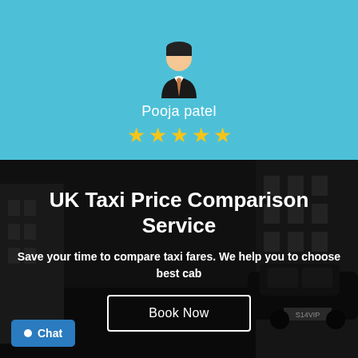[Figure (illustration): Cartoon avatar of a person wearing a suit with dark hair, on a light blue background]
Pooja patel
[Figure (illustration): Five yellow star rating icons]
[Figure (photo): Dark overlay photo of a city street with a parked car showing plate S14VIP]
UK Taxi Price Comparison Service
Save your time to compare taxi fares. We help you to choose best cab
Book Now
Chat